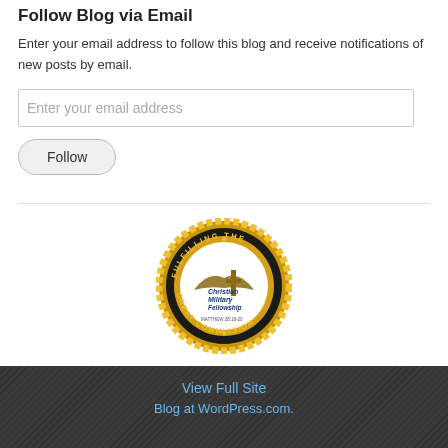Follow Blog via Email
Enter your email address to follow this blog and receive notifications of new posts by email.
[Figure (other): Email input text field placeholder reading 'Enter your email address']
[Figure (other): Follow button with rounded rectangle style]
[Figure (logo): Christian Military Fellowship seal — circular gold emblem with black ring, text 'FULFILLING THE GREAT COMMISSION' around the border, CMF logo and cross in center]
View Full Site
Blog at WordPress.com.